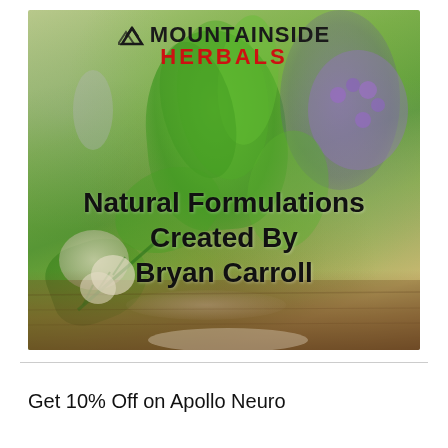[Figure (illustration): Mountainside Herbals logo and herb/botanical imagery cover photo with text overlay reading 'Natural Formulations Created By Bryan Carroll'. Logo shows mountain icon with 'MOUNTAINSIDE' in black and 'HERBALS' in red. Background shows fresh green herbs, purple flowers, garlic, rosemary, spices on a wooden surface.]
Get 10% Off on Apollo Neuro